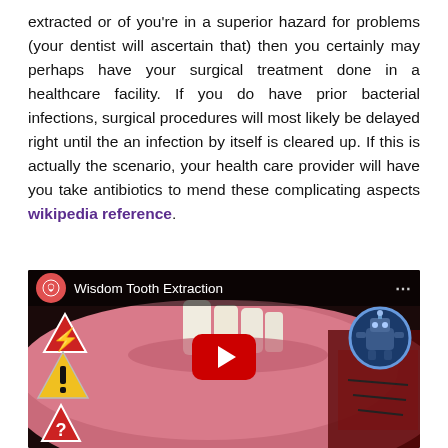extracted or of you're in a superior hazard for problems (your dentist will ascertain that) then you certainly may perhaps have your surgical treatment done in a healthcare facility. If you do have prior bacterial infections, surgical procedures will most likely be delayed right until the an infection by itself is cleared up. If this is actually the scenario, your health care provider will have you take antibiotics to mend these complicating aspects wikipedia reference.
[Figure (screenshot): YouTube video thumbnail for 'Wisdom Tooth Extraction' showing a dental procedure image with warning signs and a robot avatar circle in the top right corner, and a YouTube play button overlay.]